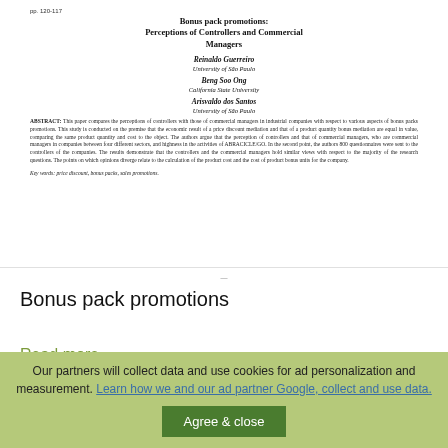pp. 120-117
Bonus pack promotions:
Perceptions of Controllers and Commercial Managers
Reinaldo Guerreiro
University of São Paulo
Beng Soo Ong
California State University
Arisvaldo dos Santos
University of São Paulo
ABSTRACT: This paper compares the perceptions of controllers with those of commercial managers in industrial companies with respect to various aspects of bonus packs promotions. This study is conducted on the premise that the economic result of a price discount mediation and that of a product quantity bonus mediation are equal in value, comparing the same product quantity and cost to the object. The authors argue that the perception of controllers and that of commercial managers, who are commercial managers in companies between four different sectors, and highness in the activities of ABRACICLE/GO. In the second point, the authors 800 questionnaires were sent to the controllers of the companies. The results demonstrate that the controllers and the commercial managers hold similar views with respect to the majority of the research questions. The points on which opinions diverge relate to the calculation of the product cost and the cost of product bonus units for the company.
Key words: price discount, bonus packs, sales promotions.
Bonus pack promotions
Read more
Our partners will collect data and use cookies for ad personalization and measurement. Learn how we and our ad partner Google, collect and use data.
Agree & close